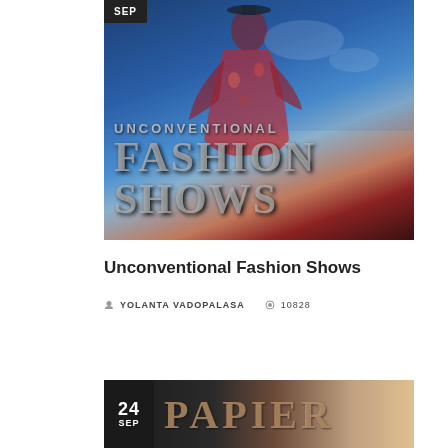[Figure (photo): Fashion editorial photo with woman in red floral dress against sky backdrop, with overlaid text: UNCONVENTIONAL FASHION SHOWS. Date badge top-left reads SEP.]
Unconventional Fashion Shows
YOLANTA VADOPALASA  10828
[Figure (photo): Partial image at bottom showing dark background with large gold/bronze text PAPIER R. Date badge shows 24 SEP.]